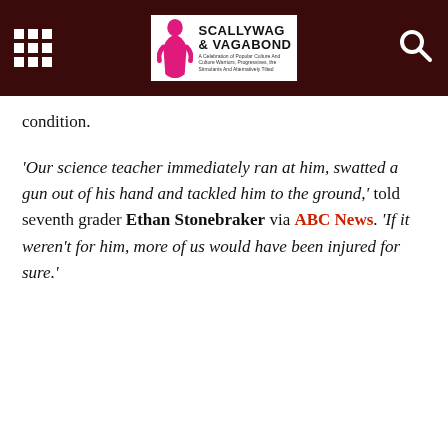Scallywag & Vagabond
condition.
'Our science teacher immediately ran at him, swatted a gun out of his hand and tackled him to the ground,' told seventh grader Ethan Stonebraker via ABC News. 'If it weren't for him, more of us would have been injured for sure.'